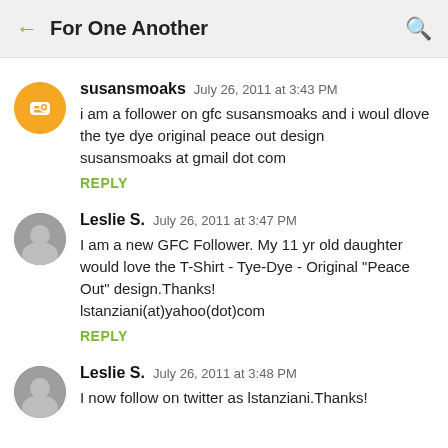For One Another
susansmoaks  July 26, 2011 at 3:43 PM
i am a follower on gfc susansmoaks and i woul dlove the tye dye original peace out design
susansmoaks at gmail dot com
REPLY
Leslie S.  July 26, 2011 at 3:47 PM
I am a new GFC Follower. My 11 yr old daughter would love the T-Shirt - Tye-Dye - Original "Peace Out" design.Thanks!
lstanziani(at)yahoo(dot)com
REPLY
Leslie S.  July 26, 2011 at 3:48 PM
I now follow on twitter as lstanziani.Thanks!